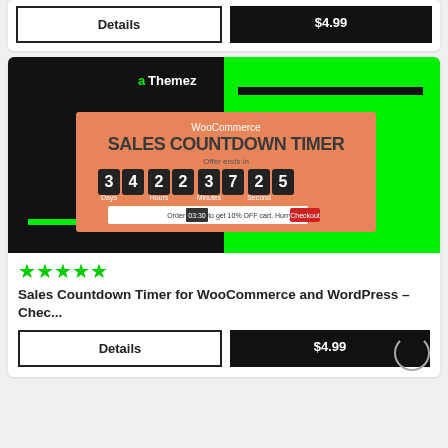[Figure (screenshot): Top card partial view showing Details button and $4.99 price button]
[Figure (screenshot): aThemez WooCommerce Sales Countdown Timer plugin promotional banner showing countdown digits 34 22 37 25 for Days, Hours, Minutes, Seconds on salmon/orange background with black and green design]
★★★★★
Sales Countdown Timer for WooCommerce and WordPress – Chec...
Details
$4.99